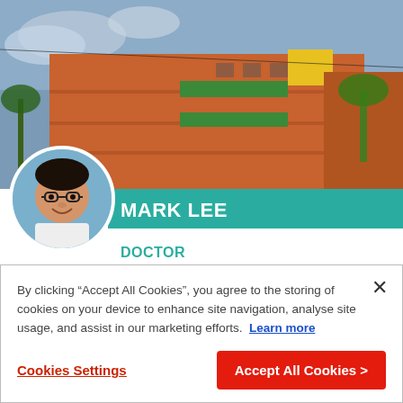[Figure (photo): Aerial/angled view of a multi-story orange/red brick building with green and yellow balcony accents, tropical setting with palm trees and cloudy sky.]
[Figure (photo): Circular profile photo of Mark Lee, a young Asian man wearing glasses, smiling.]
MARK LEE
DOCTOR
Liberia: First Impressions
Paediatrician Mark is working at the MSF children's
By clicking "Accept All Cookies", you agree to the storing of cookies on your device to enhance site navigation, analyse site usage, and assist in our marketing efforts. Learn more
Cookies Settings
Accept All Cookies >